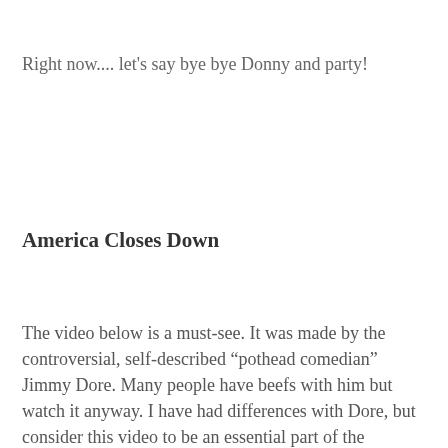Right now.... let's say bye bye Donny and party!
America Closes Down
The video below is a must-see. It was made by the controversial, self-described “pothead comedian” Jimmy Dore. Many people have beefs with him but watch it anyway. I have had differences with Dore, but consider this video to be an essential part of the discussions and debates